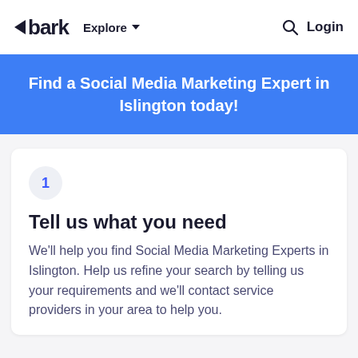bark  Explore  Login
Find a Social Media Marketing Expert in Islington today!
1
Tell us what you need
We'll help you find Social Media Marketing Experts in Islington. Help us refine your search by telling us your requirements and we'll contact service providers in your area to help you.